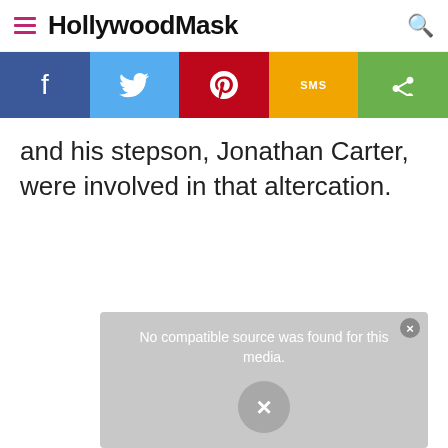HollywoodMask
[Figure (infographic): Social sharing bar with Facebook, Twitter, Pinterest, SMS, and Share buttons]
and his stepson, Jonathan Carter, were involved in that altercation.
[Figure (screenshot): Video player placeholder showing 'No compatible source was found for this media.' with an X button]